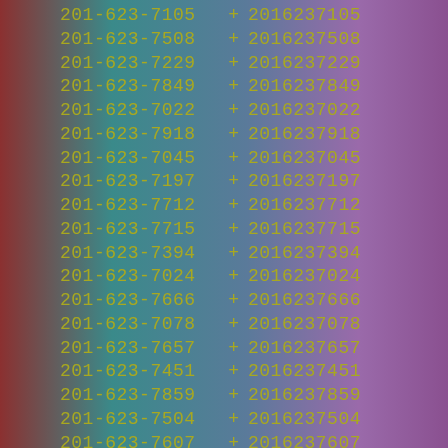201-623-7105 + 2016237105
201-623-7508 + 2016237508
201-623-7229 + 2016237229
201-623-7849 + 2016237849
201-623-7022 + 2016237022
201-623-7918 + 2016237918
201-623-7045 + 2016237045
201-623-7197 + 2016237197
201-623-7712 + 2016237712
201-623-7715 + 2016237715
201-623-7394 + 2016237394
201-623-7024 + 2016237024
201-623-7666 + 2016237666
201-623-7078 + 2016237078
201-623-7657 + 2016237657
201-623-7451 + 2016237451
201-623-7859 + 2016237859
201-623-7504 + 2016237504
201-623-7607 + 2016237607
201-623-7287 + 2016237287
201-623-7945 + 2016237945
201-623-7795 + 2016237795
201-623-7041 + 2016237041